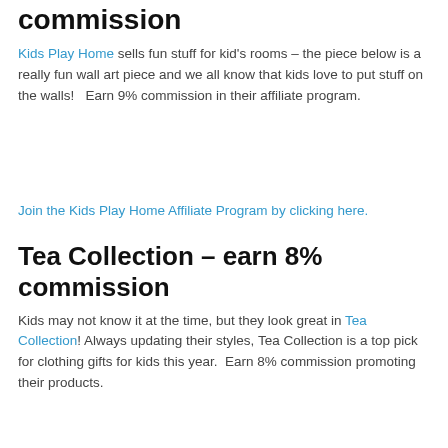commission
Kids Play Home sells fun stuff for kid's rooms – the piece below is a really fun wall art piece and we all know that kids love to put stuff on the walls!   Earn 9% commission in their affiliate program.
Join the Kids Play Home Affiliate Program by clicking here.
Tea Collection – earn 8% commission
Kids may not know it at the time, but they look great in Tea Collection! Always updating their styles, Tea Collection is a top pick for clothing gifts for kids this year.  Earn 8% commission promoting their products.